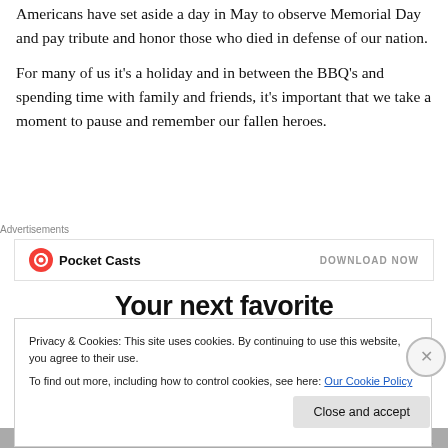Americans have set aside a day in May to observe Memorial Day and pay tribute and honor those who died in defense of our nation.
For many of us it's a holiday and in between the BBQ's and spending time with family and friends, it's important that we take a moment to pause and remember our fallen heroes.
[Figure (screenshot): Advertisement banner for Pocket Casts app with logo and 'DOWNLOAD NOW' text, followed by partial large bold text 'Your next favorite']
Privacy & Cookies: This site uses cookies. By continuing to use this website, you agree to their use.
To find out more, including how to control cookies, see here: Our Cookie Policy
Close and accept